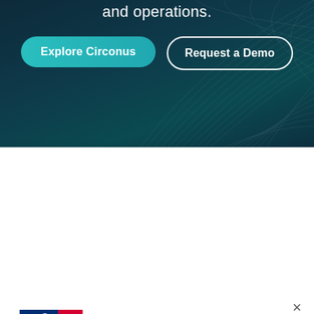and operations.
Explore Circonus
Request a Demo
[Figure (logo): MLB Major League Baseball logo — blue silhouette of batter with red background panel]
Learn how MLB was able to consolidate 7 monitoring platforms (including Datadog and New Relic) into Circonus, saving 66% annually.
Read success story →